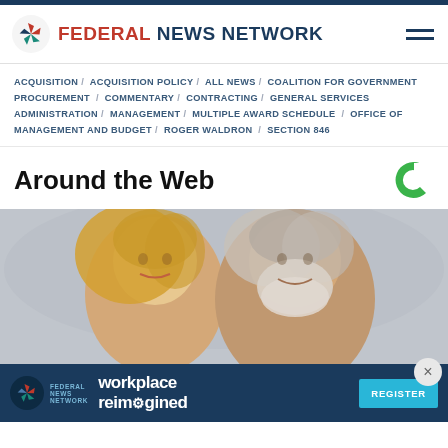Federal News Network
ACQUISITION / ACQUISITION POLICY / ALL NEWS / COALITION FOR GOVERNMENT PROCUREMENT / COMMENTARY / CONTRACTING / GENERAL SERVICES ADMINISTRATION / MANAGEMENT / MULTIPLE AWARD SCHEDULE / OFFICE OF MANAGEMENT AND BUDGET / ROGER WALDRON / SECTION 846
Around the Web
[Figure (photo): Two people (a blonde woman and an older man with white beard) smiling, photographed together]
[Figure (infographic): Advertisement banner: Federal News Network - workplace reimagined - REGISTER button]